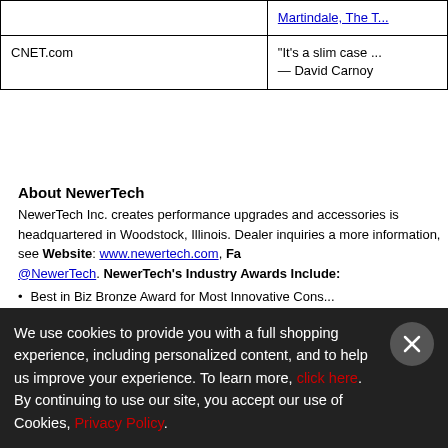|  |  |
| --- | --- |
|  | Martindale, The T... |
| CNET.com | "It's a slim case ... — David Carnoy |
About NewerTech
NewerTech Inc. creates performance upgrades and accessories for Apple products and is headquartered in Woodstock, Illinois. Dealer inquiries are welcome. For more information, see Website: www.newertech.com, Facebook, Twitter @NewerTech. NewerTech's Industry Awards Include:
Best in Biz Bronze Award for Most Innovative Cons...
CustomerRetailer EXC!TE Award (2012)
American Business Award "People's Choice" Stev...
We use cookies to provide you with a full shopping experience, including personalized content, and to help us improve your experience. To learn more, click here. By continuing to use our site, you accept our use of Cookies, Privacy Policy.